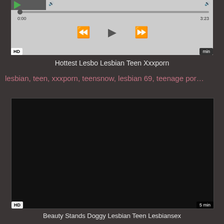[Figure (screenshot): Video player with playback controls showing progress bar, rewind, play, and fast-forward buttons. HD badge bottom-left, duration badge bottom-right.]
Hottest Lesbo Lesbian Teen Xxxporn
lesbian, teen, xxxporn, teensnow, lesbian 69, teenage por...
[Figure (screenshot): Dark video player thumbnail (black). HD badge bottom-left, 5 min badge bottom-right.]
Beauty Stands Doggy Lesbian Teen Lesbiansex